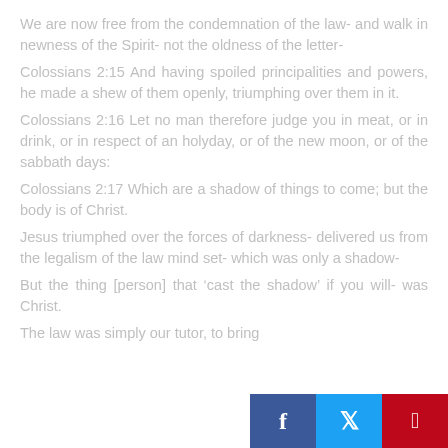We are now free from the condemnation of the law- and walk in newness of the Spirit- not the oldness of the letter-
Colossians 2:15 And having spoiled principalities and powers, he made a shew of them openly, triumphing over them in it.
Colossians 2:16 Let no man therefore judge you in meat, or in drink, or in respect of an holyday, or of the new moon, or of the sabbath days:
Colossians 2:17 Which are a shadow of things to come; but the body is of Christ.
Jesus triumphed over the forces of darkness- delivered us from the legalism of the law mind set- which was only a shadow-
But the thing [person] that ‘cast the shadow’ if you will- was Christ.
The law was simply our tutor, to bring...